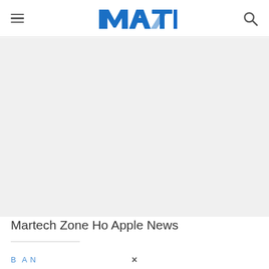Martech Zone — navigation header with hamburger menu, logo, and search icon
[Figure (other): Gray advertisement or image placeholder area below the navigation header]
Martech Zone Ho Apple News
Partially visible blue link text at bottom of visible area